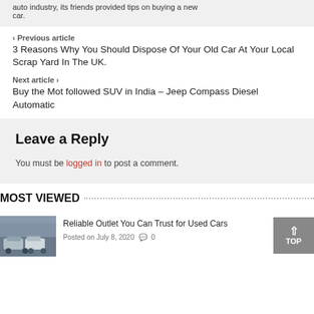auto industry, its friends provided tips on buying a new car.
< Previous article
3 Reasons Why You Should Dispose Of Your Old Car At Your Local Scrap Yard In The UK.
Next article >
Buy the Mot followed SUV in India – Jeep Compass Diesel Automatic
Leave a Reply
You must be logged in to post a comment.
MOST VIEWED
Reliable Outlet You Can Trust for Used Cars
Posted on July 8, 2020  0